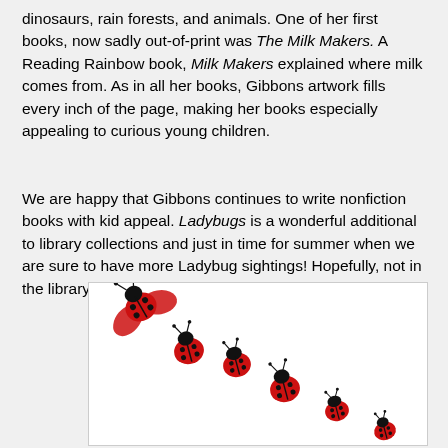dinosaurs, rain forests, and animals. One of her first books, now sadly out-of-print was The Milk Makers. A Reading Rainbow book, Milk Makers explained where milk comes from. As in all her books, Gibbons artwork fills every inch of the page, making her books especially appealing to curious young children.
We are happy that Gibbons continues to write nonfiction books with kid appeal. Ladybugs is a wonderful additional to library collections and just in time for summer when we are sure to have more Ladybug sightings! Hopefully, not in the library!
[Figure (illustration): A diagonal line of six red ladybugs with black spots crawling from upper-left to lower-right against a white background, varying in size with the largest in the upper-left.]